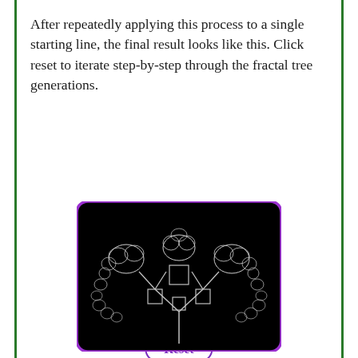After repeatedly applying this process to a single starting line, the final result looks like this. Click reset to iterate step-by-step through the fractal tree generations.
[Figure (illustration): A purple-outlined Reset button (pill shape) with bold purple text 'Reset']
[Figure (illustration): A fractal tree rendered on a black background with a purple border and rounded corners. White lines form the tree branches, with intricate fractal patterns at the tips resembling curled leaves or snowflakes.]